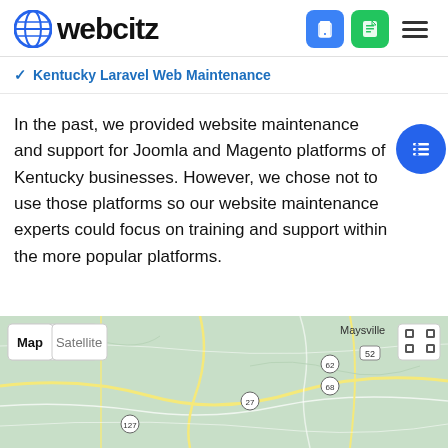webcitz
Kentucky Laravel Web Maintenance
In the past, we provided website maintenance and support for Joomla and Magento platforms of Kentucky businesses. However, we chose not to use those platforms so our website maintenance experts could focus on training and support within the more popular platforms.
[Figure (map): Google Maps view of Kentucky showing map/satellite toggle controls, road network with route markers including 62, 68, 27, 127, and Maysville label visible in upper right]